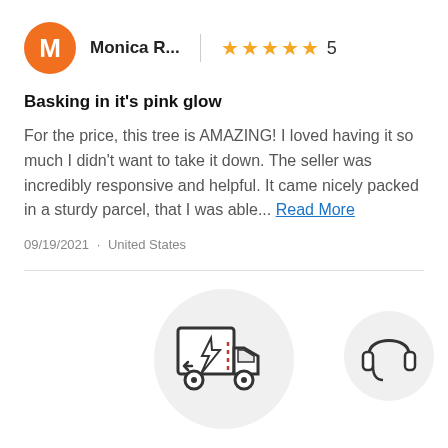Monica R...
★★★★★  5
Basking in it's pink glow
For the price, this tree is AMAZING! I loved having it so much I didn't want to take it down. The seller was incredibly responsive and helpful. It came nicely packed in a sturdy parcel, that I was able... Read More
09/19/2021 · United States
[Figure (illustration): Delivery truck icon with lightning bolt symbol on a light gray circular background]
[Figure (illustration): Headset/customer service icon with expand arrows on a light gray circular background (partially visible at right edge)]